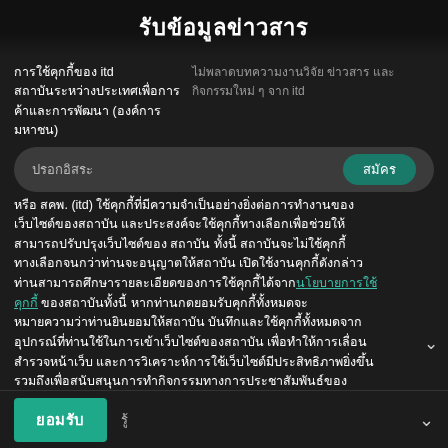รับข้อมูลข่าวสาร
การใช้คุกกี้ของ itd สถาบันระหว่างประเทศเพื่อการค้าและการพัฒนา (องค์การมหาชน) หรือ สคพ. (itd) ใช้คุกกี้ที่มีความจำเป็นอย่างยิ่งต่อการทำงานของเว็บไซต์ของสถาบัน และประสงค์จะใช้คุกกี้ทางเลือกเพื่อช่วยให้สามารถปรับปรุงเว็บไซต์ของ สถาบัน ทั้งนี้ สถาบันจะไม่ใช้คุกกี้ทางเลือกจนกว่าท่านจะอนุญาตให้สถาบัน เปิดใช้งานคุกกี้ดังกล่าว ท่านสามารถศึกษารายละเอียดของการใช้คุกกี้ได้จากนโยบายการใช้คุกกี้ ของสถาบันทั้งนี้ หากท่านกดยอมรับคุกกี้ทั้งหมดจะหมายความว่าท่านยินยอมให้สถาบัน บันทึกและใช้คุกกี้ทั้งหมดจากอุปกรณ์ที่ท่านใช้ในการเข้าเว็บไซต์ของสถาบัน เพื่อทำให้การเลื่อนสำรวจหน้าเว็บ และการวิเคราะห์การใช้เว็บไซต์มีประสิทธิภาพยิ่งขึ้น รวมถึงเพื่อสนับสนุนการทำกิจกรรมทางการประชาสัมพันธ์ของสถาบัน
ไม่พลาดบทความงานวิจัย ข่าวสาร และกิจกรรมใหม่ ๆ จาก itd
ปรอกอิสระ
สมัคร
อ่านรู้ ประสุม/ลิมมน่า
ยอมรับ รู้